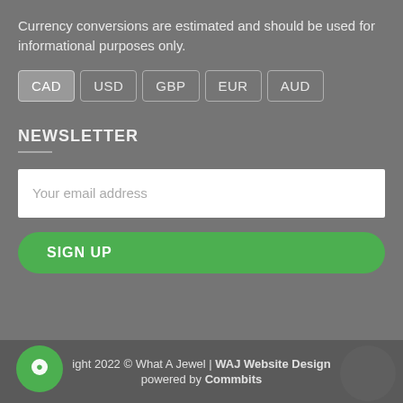Currency conversions are estimated and should be used for informational purposes only.
[Figure (other): Currency selector buttons: CAD (active/selected), USD, GBP, EUR, AUD]
NEWSLETTER
Your email address
SIGN UP
Copyright 2022 © What A Jewel | WAJ Website Design powered by Commbits